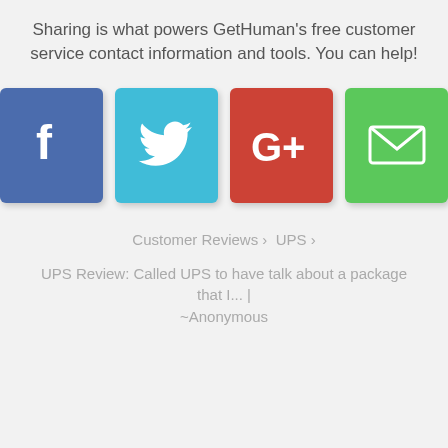Sharing is what powers GetHuman's free customer service contact information and tools. You can help!
[Figure (infographic): Four social sharing buttons: Facebook (blue), Twitter (cyan), Google+ (red), Email (green)]
Customer Reviews › UPS ›
UPS Review: Called UPS to have talk about a package that I... | ~Anonymous